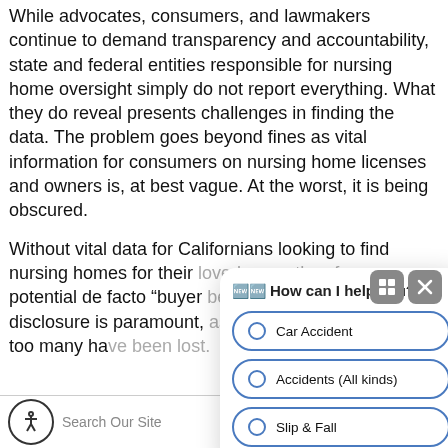While advocates, consumers, and lawmakers continue to demand transparency and accountability, state and federal entities responsible for nursing home oversight simply do not report everything. What they do reveal presents challenges in finding the data. The problem goes beyond fines as vital information for consumers on nursing home licenses and owners is, at best vague. At the worst, it is being obscured.
Without vital data for Californians looking to find nursing homes for their loved ones, they face a potential de facto “buyer beware” scenario. Full disclosure is paramount, as lives may be at stake. Far too many have been lost.
[Figure (screenshot): Chat widget overlay with header 'How can I help you?' and radio button options: Car Accident, Accidents (All kinds), Slip & Fall]
[Figure (screenshot): Bottom search bar with accessibility icon, 'Search Our Site' text, and SEARCH button]